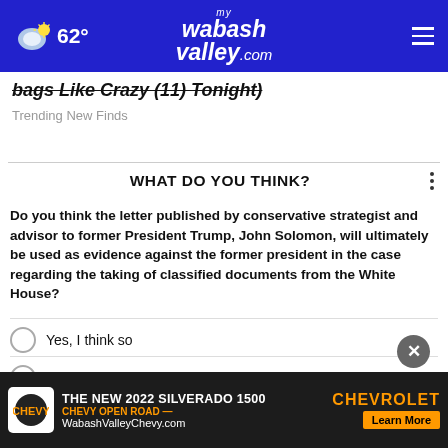62° mywabashvalley.com
bags Like Crazy (11) Tonight)
Trending New Finds
WHAT DO YOU THINK?
Do you think the letter published by conservative strategist and advisor to former President Trump, John Solomon, will ultimately be used as evidence against the former president in the case regarding the taking of classified documents from the White House?
Yes, I think so
Maybe, I'm not sure
No, I don't think so
[Figure (screenshot): Bottom advertisement banner for The New 2022 Silverado 1500 by Chevrolet, WabashValleyChevy.com, with Learn More button]